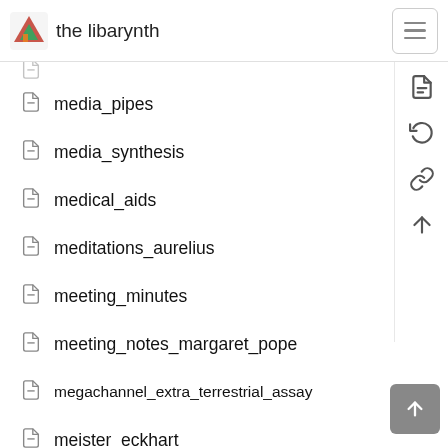the libarynth
media_pipes
media_synthesis
medical_aids
meditations_aurelius
meeting_minutes
meeting_notes_margaret_pope
megachannel_extra_terrestrial_assay
meister_eckhart
meltdown_swarm1
membrane_computing
membrane_theory
meme_and_variation
memory_code
memory_managment
memristor
menu_for_monday
merkx_and_girod
meshwork